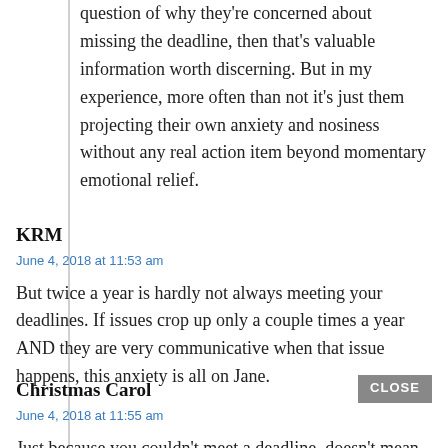question of why they're concerned about missing the deadline, then that's valuable information worth discerning. But in my experience, more often than not it's just them projecting their own anxiety and nosiness without any real action item beyond momentary emotional relief.
KRM
June 4, 2018 at 11:53 am
But twice a year is hardly not always meeting your deadlines. If issues crop up only a couple times a year AND they are very communicative when that issue happens, this anxiety is all on Jane.
Christmas Carol
June 4, 2018 at 11:55 am
Just because you couldn't meet a deadline, doesn't mean